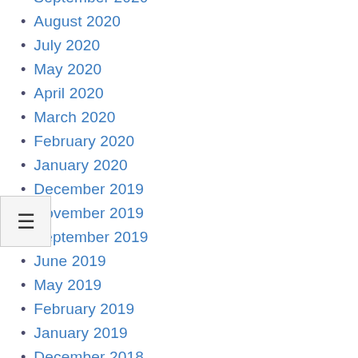September 2020
August 2020
July 2020
May 2020
April 2020
March 2020
February 2020
January 2020
December 2019
November 2019
September 2019
June 2019
May 2019
February 2019
January 2019
December 2018
November 2018
October 2018
September 2018